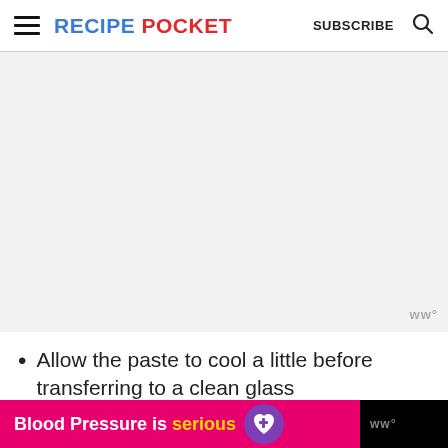RECIPE POCKET  SUBSCRIBE
[Figure (other): Large blank/light gray advertisement placeholder area with a small watermark logo 'ww°' in bottom right corner]
Allow the paste to cool a little before transferring to a clean glass
[Figure (other): Bottom banner advertisement: pink/magenta background with text 'Blood Pressure is serious' with a purple heart logo icon, followed by dark background with ww° watermark]